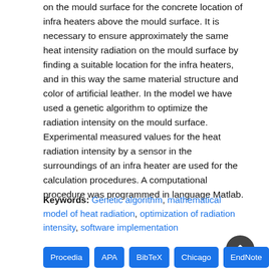on the mould surface for the concrete location of infra heaters above the mould surface. It is necessary to ensure approximately the same heat intensity radiation on the mould surface by finding a suitable location for the infra heaters, and in this way the same material structure and color of artificial leather. In the model we have used a genetic algorithm to optimize the radiation intensity on the mould surface. Experimental measured values for the heat radiation intensity by a sensor in the surroundings of an infra heater are used for the calculation procedures. A computational procedure was programmed in language Matlab.
Keywords: Genetic algorithm, mathematical model of heat radiation, optimization of radiation intensity, software implementation
Procedia | APA | BibTeX | Chicago | EndNote